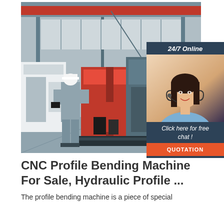[Figure (photo): Factory floor photo showing a worker in a hard hat and grey uniform standing in front of a large red CNC profile bending machine inside an industrial facility with overhead crane and skylights visible.]
[Figure (photo): Customer service widget sidebar showing '24/7 Online' text at top on dark blue background, a photo of a smiling female agent with headset, italic text 'Click here for free chat!', and an orange QUOTATION button at the bottom.]
CNC Profile Bending Machine For Sale, Hydraulic Profile ...
The profile bending machine is a piece of special